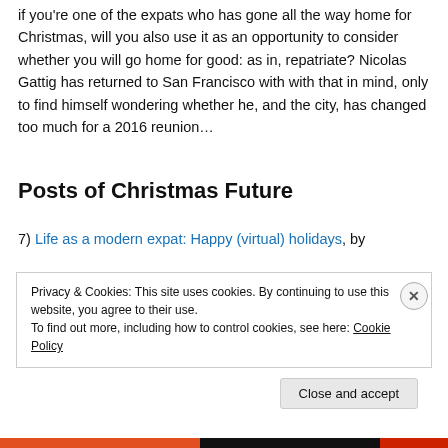if you're one of the expats who has gone all the way home for Christmas, will you also use it as an opportunity to consider whether you will go home for good: as in, repatriate? Nicolas Gattig has returned to San Francisco with with that in mind, only to find himself wondering whether he, and the city, has changed too much for a 2016 reunion…
Posts of Christmas Future
7) Life as a modern expat: Happy (virtual) holidays, by
Privacy & Cookies: This site uses cookies. By continuing to use this website, you agree to their use. To find out more, including how to control cookies, see here: Cookie Policy
Close and accept